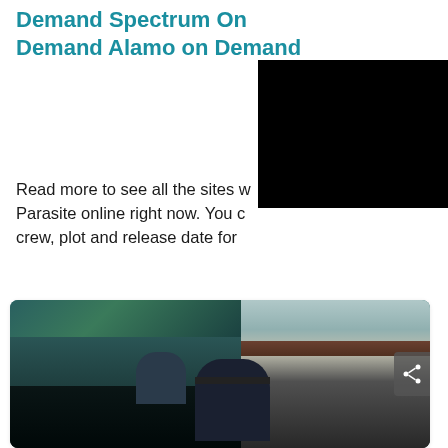Demand Spectrum On Demand Alamo on Demand
[Figure (other): Black redacted/blurred rectangle overlapping upper right of page]
Read more to see all the sites where you can watch Parasite online right now. You can also find the cast, crew, plot and release date for
[Figure (photo): Movie still from Parasite film showing two figures standing in front of a modern glass building. The foreground figure has a censor bar across their eyes.]